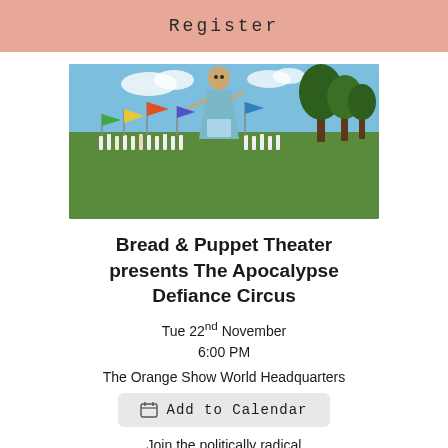Register
[Figure (photo): Outdoor gathering with a giant puppet/figure in blue dress holding a staff, surrounded by a crowd in white clothing with colorful flags, trees in background under blue sky.]
Bread & Puppet Theater presents The Apocalypse Defiance Circus
Tue 22nd November
6:00 PM
The Orange Show World Headquarters
Add to Calendar
Join the politically radical Vermont-based puppet theater for